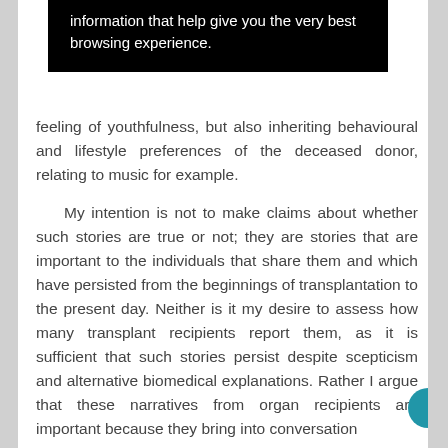[Figure (screenshot): Black tooltip/popup box with white text reading: 'information that help give you the very best browsing experience.']
feeling of youthfulness, but also inheriting behavioural and lifestyle preferences of the deceased donor, relating to music for example.
My intention is not to make claims about whether such stories are true or not; they are stories that are important to the individuals that share them and which have persisted from the beginnings of transplantation to the present day. Neither is it my desire to assess how many transplant recipients report them, as it is sufficient that such stories persist despite scepticism and alternative biomedical explanations. Rather I argue that these narratives from organ recipients are important because they bring into conversation